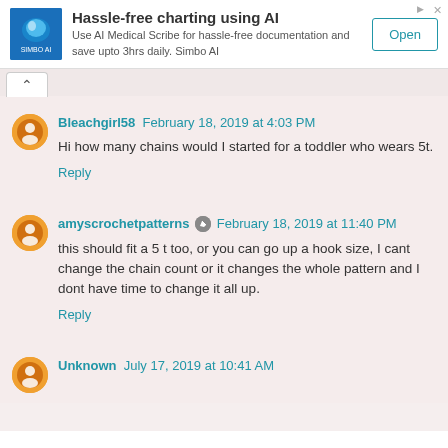[Figure (infographic): Advertisement banner: Simbo AI logo on blue background, headline 'Hassle-free charting using AI', description 'Use AI Medical Scribe for hassle-free documentation and save upto 3hrs daily. Simbo AI', Open button on right.]
Bleachgirl58  February 18, 2019 at 4:03 PM
Hi how many chains would I started for a toddler who wears 5t.
Reply
amyscrochetpatterns  February 18, 2019 at 11:40 PM
this should fit a 5 t too, or you can go up a hook size, I cant change the chain count or it changes the whole pattern and I dont have time to change it all up.
Reply
Unknown  July 17, 2019 at 10:41 AM